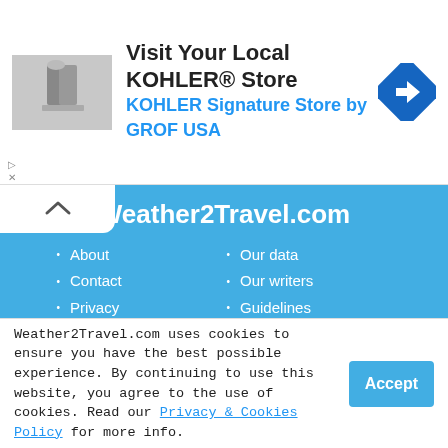[Figure (screenshot): KOHLER advertisement banner with product image, text 'Visit Your Local KOHLER® Store / KOHLER Signature Store by GROF USA', and a blue diamond navigation icon]
Weather2Travel.com
About
Contact
Privacy
Legal
Site map
Our data
Our writers
Guidelines
Funding
In the Press
Follow us
[Figure (infographic): Social media icons: Facebook, Twitter, Pinterest, Instagram]
Join our newsletter
Weather2Travel.com uses cookies to ensure you have the best possible experience. By continuing to use this website, you agree to the use of cookies. Read our Privacy & Cookies Policy for more info.